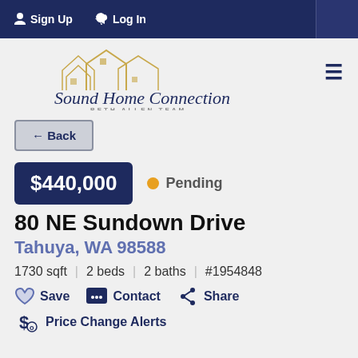Sign Up  Log In
[Figure (logo): Sound Home Connections - Beth Allen Team logo with house outlines]
← Back
$440,000  ● Pending
80 NE Sundown Drive
Tahuya, WA 98588
1730 sqft  |  2 beds  |  2 baths  |  #1954848
Save  Contact  Share
Price Change Alerts